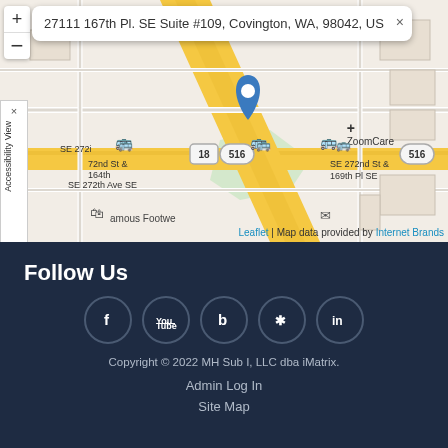[Figure (map): Street map showing location at 27111 167th Pl. SE Suite #109, Covington, WA, 98042, US with a blue location pin, showing surrounding streets including SE 272nd St, highway 516 and 18, with ZoomCare and Famous Footwear nearby.]
Follow Us
[Figure (other): Row of five social media icon circles: Facebook (f), YouTube, Bing (b), Yelp, LinkedIn (in)]
Copyright © 2022 MH Sub I, LLC dba iMatrix.
Admin Log In
Site Map